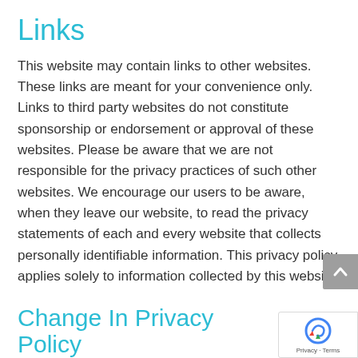Links
This website may contain links to other websites. These links are meant for your convenience only. Links to third party websites do not constitute sponsorship or endorsement or approval of these websites. Please be aware that we are not responsible for the privacy practices of such other websites. We encourage our users to be aware, when they leave our website, to read the privacy statements of each and every website that collects personally identifiable information. This privacy policy applies solely to information collected by this website.
Change In Privacy Policy
As we plan to ensure our privacy policy remains